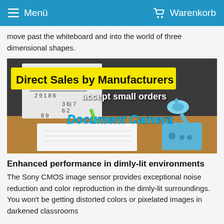Menü   Warenkorb
move past the whiteboard and into the world of three dimensional shapes.
[Figure (photo): Advertisement image for a document camera product showing a child's hand writing on paper with a green pencil, and a blue document camera on a desk with a blackboard in the background. Text overlays: 'Direct Sales by Manufacturers', 'accept small orders', 'Document Camera']
Enhanced performance in dimly-lit environments
The Sony CMOS image sensor provides exceptional noise reduction and color reproduction in the dimly-lit surroundings. You won't be getting distorted colors or pixelated images in darkened classrooms